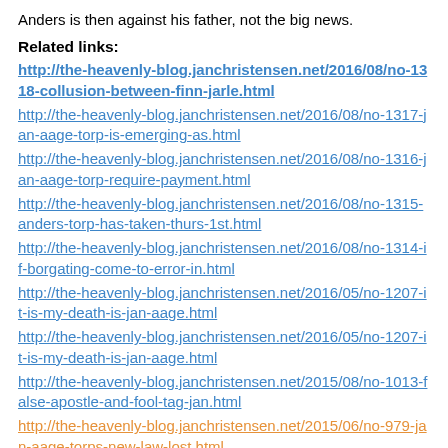Anders is then against his father, not the big news.
Related links:
http://the-heavenly-blog.janchristensen.net/2016/08/no-1318-collusion-between-finn-jarle.html
http://the-heavenly-blog.janchristensen.net/2016/08/no-1317-jan-aage-torp-is-emerging-as.html
http://the-heavenly-blog.janchristensen.net/2016/08/no-1316-jan-aage-torp-require-payment.html
http://the-heavenly-blog.janchristensen.net/2016/08/no-1315-anders-torp-has-taken-thurs-1st.html
http://the-heavenly-blog.janchristensen.net/2016/08/no-1314-if-borgating-come-to-error-in.html
http://the-heavenly-blog.janchristensen.net/2016/05/no-1207-it-is-my-death-is-jan-aage.html
http://the-heavenly-blog.janchristensen.net/2016/05/no-1207-it-is-my-death-is-jan-aage.html
http://the-heavenly-blog.janchristensen.net/2015/08/no-1013-false-apostle-and-fool-tag-jan.html
http://the-heavenly-blog.janchristensen.net/2015/06/no-979-jan-aage-torps-new-law-lost.html
http://the-heavenly-blog.janchristensen.net/2015/06/no-